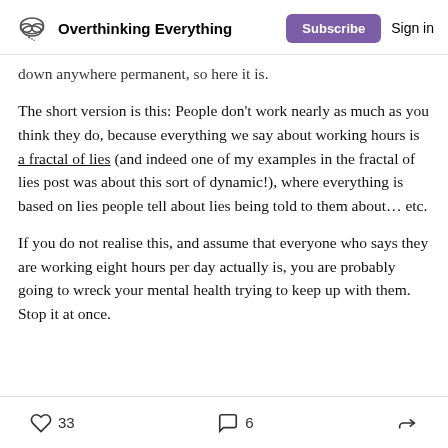Overthinking Everything | Subscribe | Sign in
down anywhere permanent, so here it is.
The short version is this: People don't work nearly as much as you think they do, because everything we say about working hours is a fractal of lies (and indeed one of my examples in the fractal of lies post was about this sort of dynamic!), where everything is based on lies people tell about lies being told to them about… etc.
If you do not realise this, and assume that everyone who says they are working eight hours per day actually is, you are probably going to wreck your mental health trying to keep up with them. Stop it at once.
33 likes | 6 comments | share